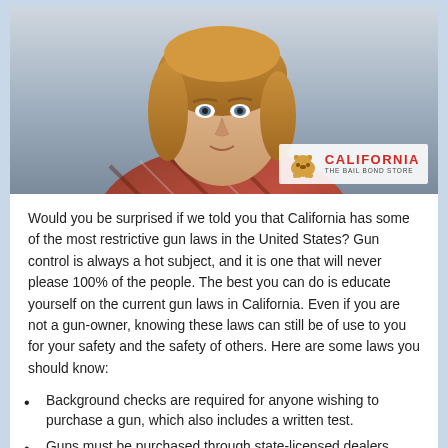[Figure (photo): Young man with reddish-blonde hair wearing a plaid shirt, looking thoughtful. California The Bail Bond Store logo overlay in bottom right corner.]
Would you be surprised if we told you that California has some of the most restrictive gun laws in the United States? Gun control is always a hot subject, and it is one that will never please 100% of the people. The best you can do is educate yourself on the current gun laws in California. Even if you are not a gun-owner, knowing these laws can still be of use to you for your safety and the safety of others. Here are some laws you should know:
Background checks are required for anyone wishing to purchase a gun, which also includes a written test.
Guns must be purchased through state-licensed dealers.
The majority of assault weapons and .50 caliber rifles are illegal.
A person may only purchase one handgun per month.